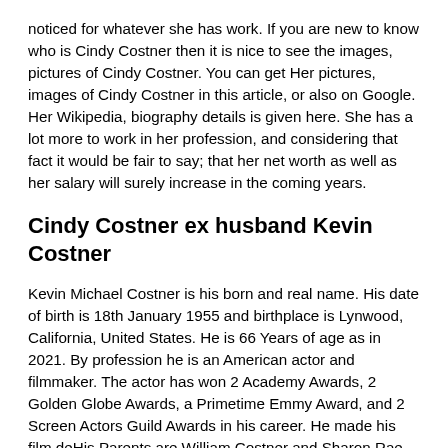noticed for whatever she has work. If you are new to know who is Cindy Costner then it is nice to see the images, pictures of Cindy Costner. You can get Her pictures, images of Cindy Costner in this article, or also on Google. Her Wikipedia, biography details is given here. She has a lot more to work in her profession, and considering that fact it would be fair to say; that her net worth as well as her salary will surely increase in the coming years.
Cindy Costner ex husband Kevin Costner
Kevin Michael Costner is his born and real name. His date of birth is 18th January 1955 and birthplace is Lynwood, California, United States. He is 66 Years of age as in 2021. By profession he is an American actor and filmmaker. The actor has won 2 Academy Awards, 2 Golden Globe Awards, a Primetime Emmy Award, and 2 Screen Actors Guild Awards in his career. He made his film deHis Parents are William Costner and Sharon Rae. Sharon Rae is his mother's name and William Costner is his father's name. He has siblings and siblings have brothers. His brother